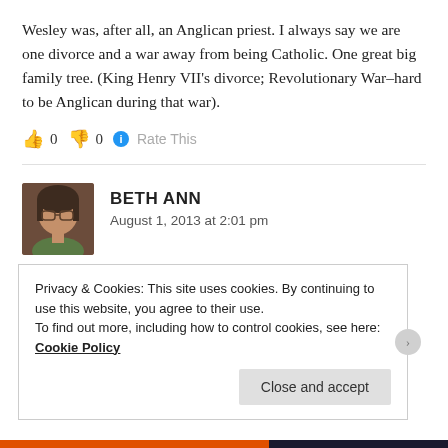Wesley was, after all, an Anglican priest. I always say we are one divorce and a war away from being Catholic. One great big family tree. (King Henry VII's divorce; Revolutionary War–hard to be Anglican during that war).
👍 0 👎 0 ℹ Rate This
[Figure (photo): Avatar photo of Beth Ann, a woman with glasses and curly dark hair wearing a green top]
BETH ANN
August 1, 2013 at 2:01 pm
I ... NT W ... d ... bl ... f ... it
Privacy & Cookies: This site uses cookies. By continuing to use this website, you agree to their use.
To find out more, including how to control cookies, see here: Cookie Policy
Close and accept